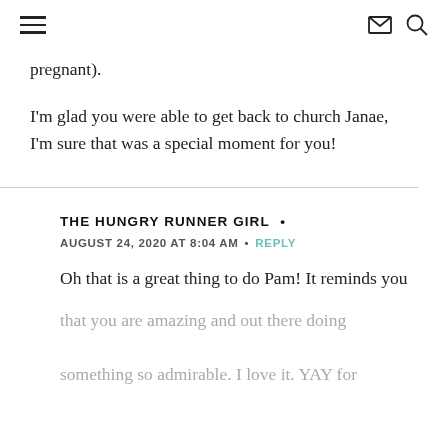≡  ✉ 🔍
pregnant).
I'm glad you were able to get back to church Janae, I'm sure that was a special moment for you!
THE HUNGRY RUNNER GIRL •
AUGUST 24, 2020 AT 8:04 AM  •  REPLY
Oh that is a great thing to do Pam! It reminds you that you are amazing and out there doing something so admirable. I love it. YAY for